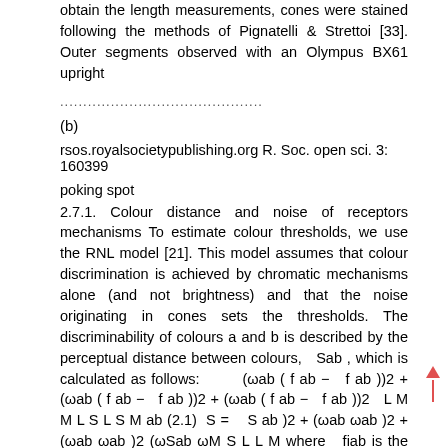obtain the length measurements, cones were stained following the methods of Pignatelli & Strettoi [33]. Outer segments observed with an Olympus BX61 upright
............................................
(b)
rsos.royalsocietypublishing.org R. Soc. open sci. 3: 160399
poking spot
2.7.1. Colour distance and noise of receptors mechanisms To estimate colour thresholds, we use the RNL model [21]. This model assumes that colour discrimination is achieved by chromatic mechanisms alone (and not brightness) and that the noise originating in cones sets the thresholds. The discriminability of colours a and b is described by the perceptual distance between colours, Sab , which is calculated as follows: (ωab ( f ab − f ab ))2 + (ωab ( f ab − f ab ))2 + (ωab ( f ab − f ab ))2 L M M L S L S M ab (2.1) S = S ab )2 + (ωab ωab )2 + (ωab ωab )2 (ωSab ωM S L L M where fiab is the difference between